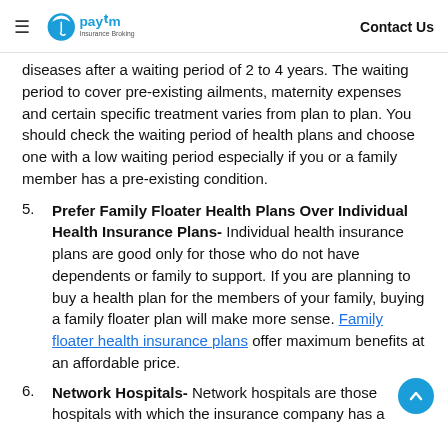Paytm Insurance Broking | Contact Us
diseases after a waiting period of 2 to 4 years. The waiting period to cover pre-existing ailments, maternity expenses and certain specific treatment varies from plan to plan. You should check the waiting period of health plans and choose one with a low waiting period especially if you or a family member has a pre-existing condition.
5. Prefer Family Floater Health Plans Over Individual Health Insurance Plans- Individual health insurance plans are good only for those who do not have dependents or family to support. If you are planning to buy a health plan for the members of your family, buying a family floater plan will make more sense. Family floater health insurance plans offer maximum benefits at an affordable price.
6. Network Hospitals- Network hospitals are those hospitals with which the insurance company has a